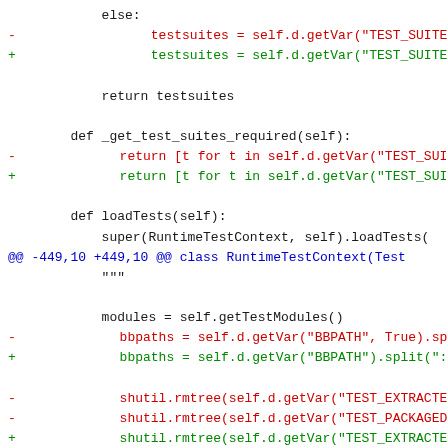diff/patch code block showing changes to RuntimeTestContext class
[Figure (other): Code diff showing changes to Python test suite methods including _get_test_suites_required and loadTests]